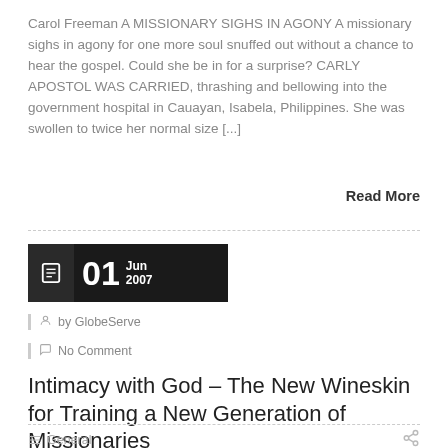Carol Freeman A MISSIONARY SIGHS IN AGONY A missionary sighs in agony for one more soul snuffed out without a chance to hear the gospel. Could she be in for a surprise? CARLY APOSTOL WAS CARRIED, thrashing and bellowing into the government hospital in Cauayan, Isabela, Philippines. She was swollen to twice her normal size [...]
Read More
[Figure (other): Date badge showing 01 Jun 2007 with document icon on black background]
by GlobeServe
No Comment
Intimacy with God – The New Wineskin for Training a New Generation of Missionaries
General